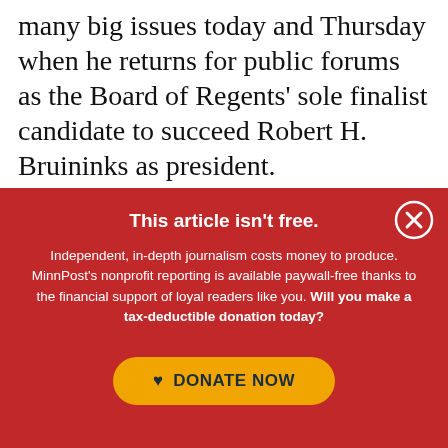many big issues today and Thursday when he returns for public forums as the Board of Regents' sole finalist candidate to succeed Robert H. Bruininks as president.

Kaler, who received his Ph.D. in chemical
[Figure (other): Red overlay popup with close button (X in circle), headline 'This article isn't free.', body text about MinnPost nonprofit reporting, and a yellow 'DONATE NOW' button with heart icon.]